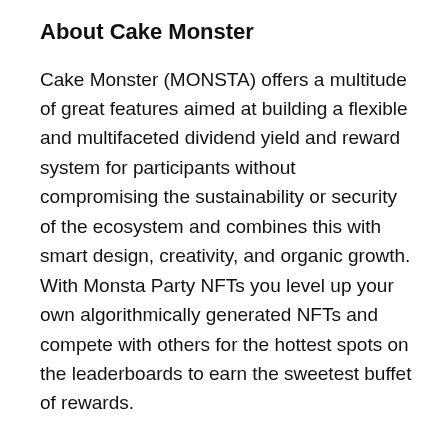About Cake Monster
Cake Monster (MONSTA) offers a multitude of great features aimed at building a flexible and multifaceted dividend yield and reward system for participants without compromising the sustainability or security of the ecosystem and combines this with smart design, creativity, and organic growth. With Monsta Party NFTs you level up your own algorithmically generated NFTs and compete with others for the hottest spots on the leaderboards to earn the sweetest buffet of rewards.